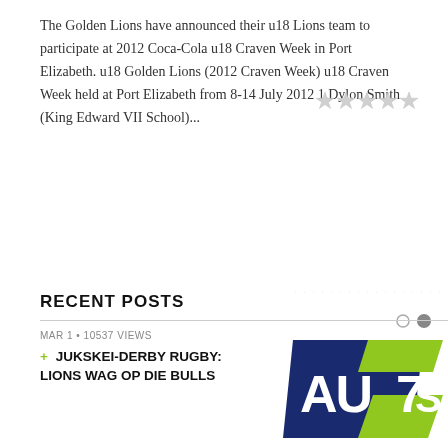The Golden Lions have announced their u18 Lions team to participate at 2012 Coca-Cola u18 Craven Week in Port Elizabeth. u18 Golden Lions (2012 Craven Week) u18 Craven Week held at Port Elizabeth from 8-14 July 2012 1.Dylon Smith (King Edward VII School)...
[Figure (other): Five-star rating widget showing empty/unfilled stars in light gray]
RECENT POSTS
MAR 1 • 10537 VIEWS
+ JUKSKEI-DERBY RUGBY: LIONS WAG OP DIE BULLS
[Figure (logo): AU7S logo: dark navy blue shield/parallelogram with 'AU' in white bold text, lime green '7' and 'S' on right side]